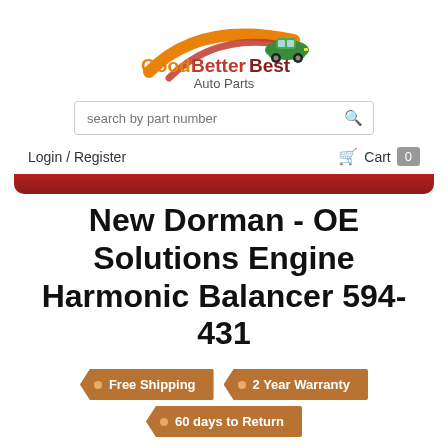[Figure (logo): GoodBetterBest Auto Parts logo with green car on orange/red swoosh arc, text in orange and dark red]
search by part number
Login / Register
Cart  0
New Dorman - OE Solutions Engine Harmonic Balancer 594-431
Free Shipping
2 Year Warranty
60 days to Return